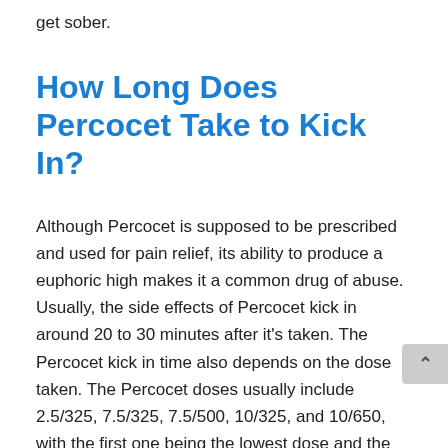get sober.
How Long Does Percocet Take to Kick In?
Although Percocet is supposed to be prescribed and used for pain relief, its ability to produce a euphoric high makes it a common drug of abuse. Usually, the side effects of Percocet kick in around 20 to 30 minutes after it's taken. The Percocet kick in time also depends on the dose taken. The Percocet doses usually include 2.5/325, 7.5/325, 7.5/500, 10/325, and 10/650, with the first one being the lowest dose and the last one being the highest. The first